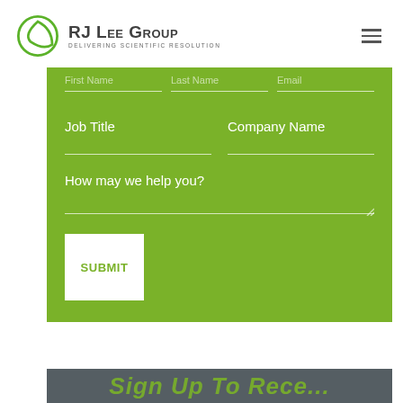[Figure (logo): RJ Lee Group logo with green circular icon and text 'RJ LEE GROUP - DELIVERING SCIENTIFIC RESOLUTION']
[Figure (screenshot): Green contact form with fields: First Name, Last Name, Email (partially visible at top), Job Title, Company Name, How may we help you? text area, and a white SUBMIT button]
[Figure (screenshot): Dark gray banner at bottom with green italic text partially visible]